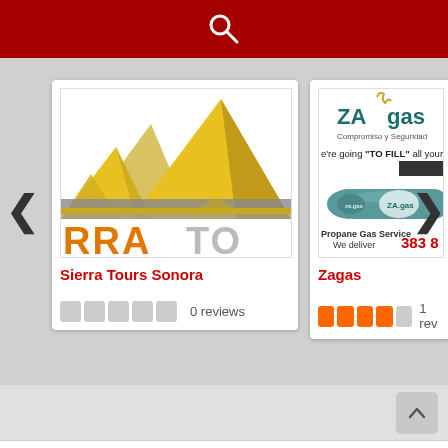[Figure (screenshot): Red search bar at top with white search/magnifying glass icon]
[Figure (screenshot): Carousel listing card for Sierra Tours Sonora with mountain logo, 0 reviews, empty star rating]
Sierra Tours Sonora
0 reviews
[Figure (screenshot): Carousel listing card for Zagas propane gas service, partially visible, 1 review, 4 orange stars]
Zagas
1 rev
Just listed
Categories